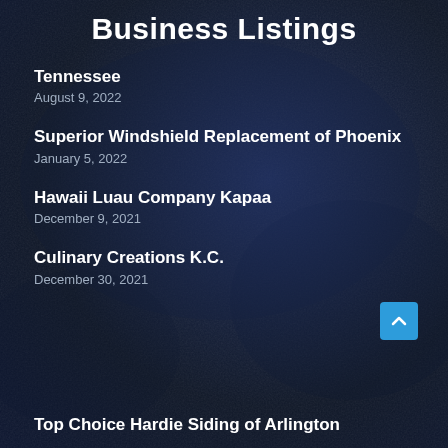Business Listings
Tennessee
August 9, 2022
Superior Windshield Replacement of Phoenix
January 5, 2022
Hawaii Luau Company Kapaa
December 9, 2021
Culinary Creations K.C.
December 30, 2021
Top Choice Hardie Siding of Arlington